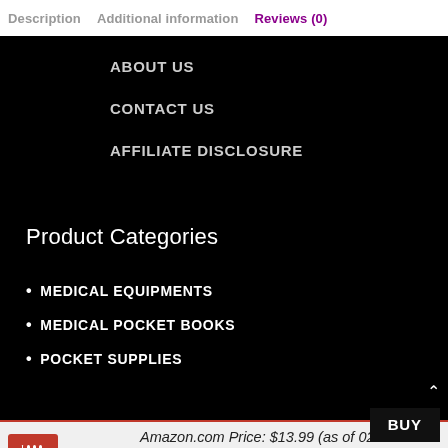Description   Additional information   Reviews (0)
ABOUT US
CONTACT US
AFFILIATE DISCLOSURE
Product Categories
MEDICAL EQUIPMENTS
MEDICAL POCKET BOOKS
POCKET SUPPLIES
Amazon.com Price: $13.99 (as of 02/09/2022 03:23 PST- Details) & FREE Shipping.